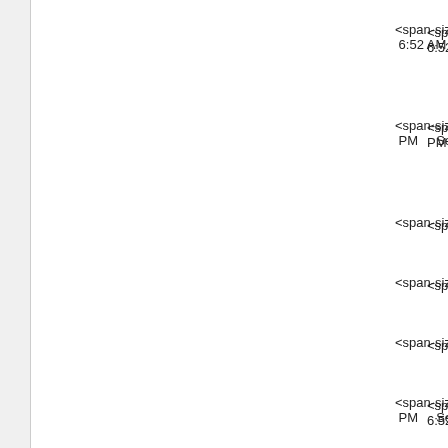<span-size: 6:52 AM R
<span-size: PM Set A
<span-size:
<span-size:
<span-size:
<span-size: 6:52 AM R
<span-size: PM Set S
<span-size:
<span-size:
<span-size: 6:53 AM R
<span-size: PM Set C
<span-size:
<span-size:
<span-size: